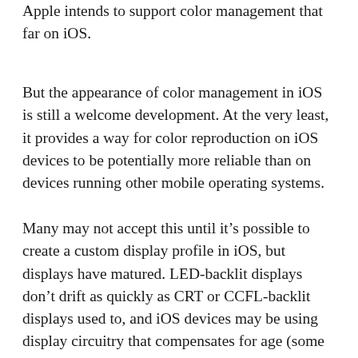Apple intends to support color management that far on iOS.
But the appearance of color management in iOS is still a welcome development. At the very least, it provides a way for color reproduction on iOS devices to be potentially more reliable than on devices running other mobile operating systems.
Many may not accept this until it’s possible to create a custom display profile in iOS, but displays have matured. LED-backlit displays don’t drift as quickly as CRT or CCFL-backlit displays used to, and iOS devices may be using display circuitry that compensates for age (some desktop displays have this feature). Apple may feel that they can keep the iPad Pro display stable enough so that the factory-installed display profile, together with a color management system, provides color rendering that’s reliable enough for most purposes